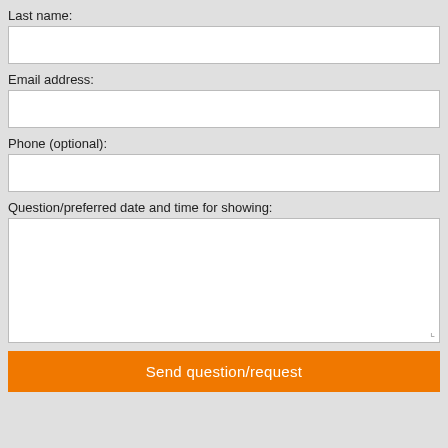Last name:
Email address:
Phone (optional):
Question/preferred date and time for showing:
Send question/request